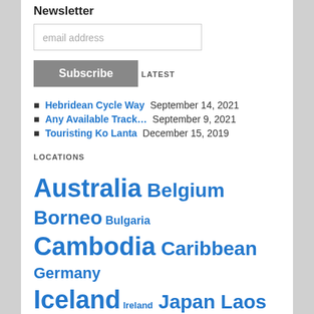Newsletter
email address
Subscribe
LATEST
Hebridean Cycle Way September 14, 2021
Any Available Track… September 9, 2021
Touristing Ko Lanta December 15, 2019
LOCATIONS
Australia Belgium Borneo Bulgaria Cambodia Caribbean Germany Iceland Ireland Japan Laos Malaysia Mauritius Scotland Singapore Thailand